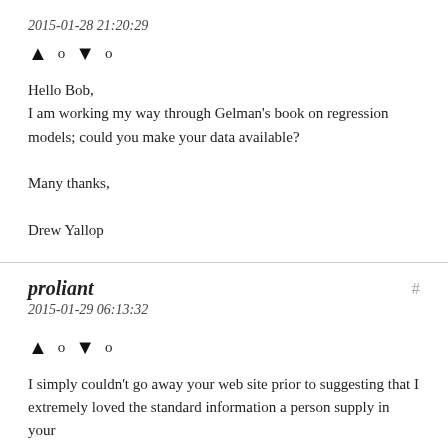2015-01-28 21:20:29
[Figure (other): Upvote arrow, count 0, downvote arrow, count 0]
Hello Bob,
I am working my way through Gelman's book on regression models; could you make your data available?

Many thanks,

Drew Yallop
proliant
2015-01-29 06:13:32
[Figure (other): Upvote arrow, count 0, downvote arrow, count 0]
I simply couldn't go away your web site prior to suggesting that I extremely loved the standard information a person supply in your
visitors? Is going to be back frequently in order to check up on